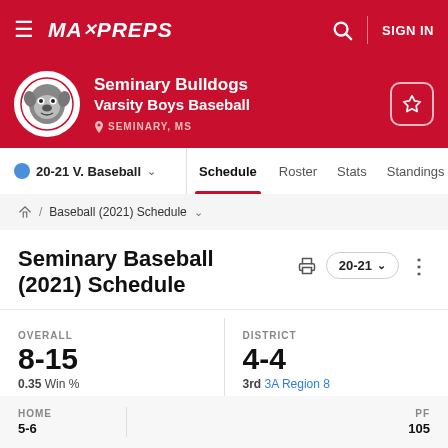MaxPreps — Seminary Bulldogs Varsity Boys Baseball — SEMINARY, MS
20-21 V. Baseball  Schedule  Roster  Stats  Standings
Home / Baseball (2021) Schedule
Seminary Baseball (2021) Schedule
| OVERALL | DISTRICT |
| --- | --- |
| 8-15 | 4-4 |
| 0.35 Win % | 3rd 3A Region 8 |
| HOME | PF |
| --- | --- |
| 5-6 | 105 |